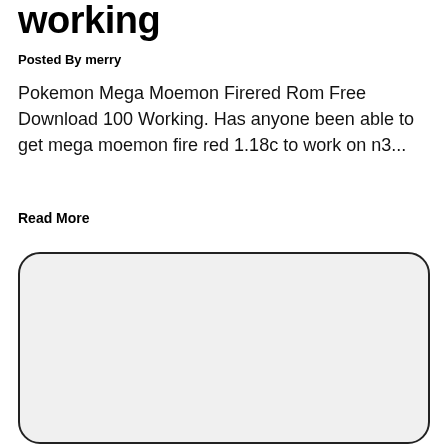working
Posted By merry
Pokemon Mega Moemon Firered Rom Free Download 100 Working. Has anyone been able to get mega moemon fire red 1.18c to work on n3...
Read More
[Figure (other): Rounded rectangle card placeholder with light gray background and dark border]